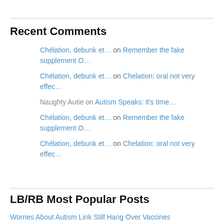Recent Comments
Chélation, debunk et… on Remember the fake supplement O…
Chélation, debunk et… on Chelation: oral not very effec…
Naughty Autie on Autism Speaks: it's time…
Chélation, debunk et… on Remember the fake supplement O…
Chélation, debunk et… on Chelation: oral not very effec…
LB/RB Most Popular Posts
Worries About Autism Link Still Hang Over Vaccines